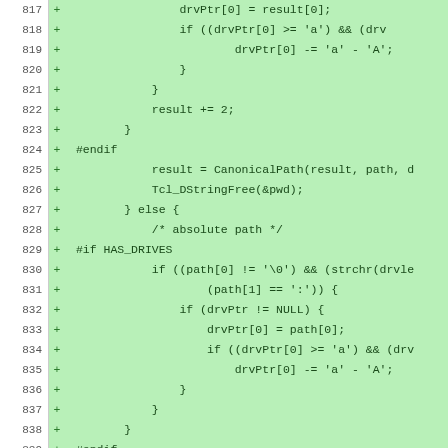[Figure (screenshot): Code diff showing lines 817-844 of a C source file with added lines (marked with +) highlighted in green. The code involves path handling, drive pointer operations, and calls to CanonicalPath and Tcl_DStringFree functions.]